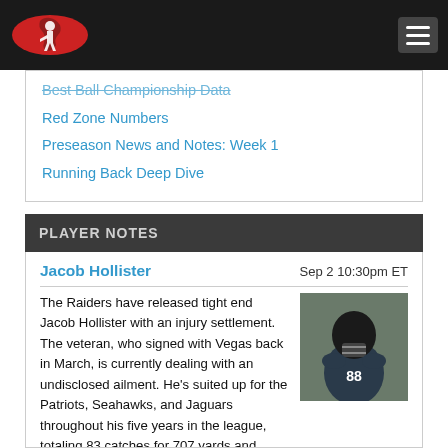Best Ball Championship Data
Red Zone Numbers
Preseason News and Notes: Week 1
Running Back Deep Dive
PLAYER NOTES
Jacob Hollister — Sep 2 10:30pm ET — The Raiders have released tight end Jacob Hollister with an injury settlement. The veteran, who signed with Vegas back in March, is currently dealing with an undisclosed ailment. He's suited up for the Patriots, Seahawks, and Jaguars throughout his five years in the league, totaling 83 catches for 707 yards and seven touchdowns. It's certainly possible Hollister will find work elsewhere once he gets healthy. However, the 28-year-old isn't expected to be a routine fantasy contributor, no matter where he lands next.
From RotoBaller